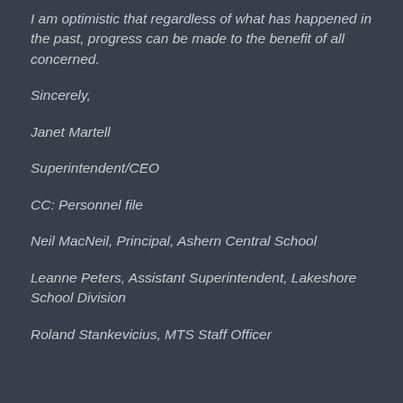I am optimistic that regardless of what has happened in the past, progress can be made to the benefit of all concerned.
Sincerely,
Janet Martell
Superintendent/CEO
CC: Personnel file
Neil MacNeil, Principal, Ashern Central School
Leanne Peters, Assistant Superintendent, Lakeshore School Division
Roland Stankevicius, MTS Staff Officer